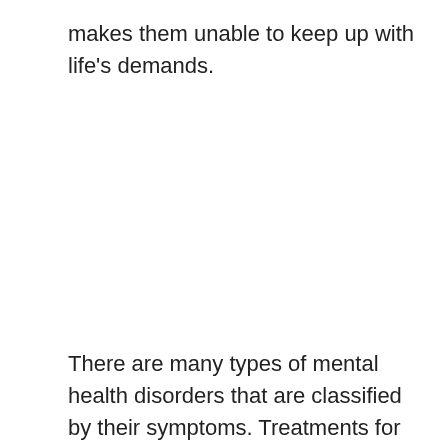makes them unable to keep up with life's demands.
There are many types of mental health disorders that are classified by their symptoms. Treatments for these illnesses also vary. Some of